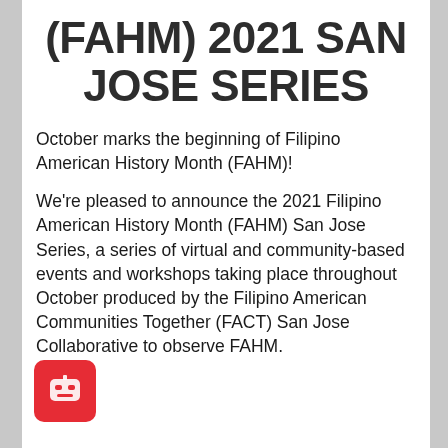(FAHM) 2021 SAN JOSE SERIES
October marks the beginning of Filipino American History Month (FAHM)!
We’re pleased to announce the 2021 Filipino American History Month (FAHM) San Jose Series, a series of virtual and community-based events and workshops taking place throughout October produced by the Filipino American Communities Together (FACT) San Jose Collaborative to observe FAHM.